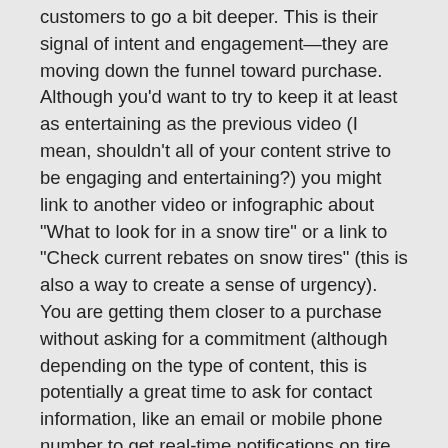customers to go a bit deeper. This is their signal of intent and engagement—they are moving down the funnel toward purchase. Although you'd want to try to keep it at least as entertaining as the previous video (I mean, shouldn't all of your content strive to be engaging and entertaining?) you might link to another video or infographic about "What to look for in a snow tire" or a link to "Check current rebates on snow tires" (this is also a way to create a sense of urgency). You are getting them closer to a purchase without asking for a commitment (although depending on the type of content, this is potentially a great time to ask for contact information, like an email or mobile phone number to get real-time notifications on tire rebates, for example).
The third type of CTA is very direct—a button to